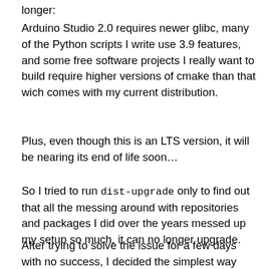longer:
Arduino Studio 2.0 requires newer glibc, many of the Python scripts I write use 3.9 features, and some free software projects I really want to build require higher versions of cmake than that wich comes with my current distribution.
Plus, even though this is an LTS version, it will be nearing its end of life soon…
So I tried to run dist-upgrade only to find out that all the messing around with repositories and packages I did over the years messed up my setup so much, it can no longer upgrade.
After trying to solve the issue for a few days with no success, I decided the simplest way forward was to just install a newer version over the old one.